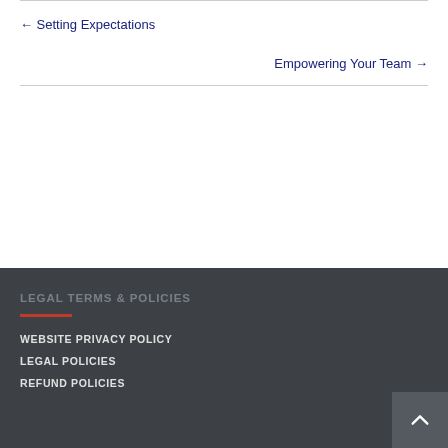← Setting Expectations
Empowering Your Team →
LEGAL TERMS & POLICIES
WEBSITE PRIVACY POLICY
LEGAL POLICIES
REFUND POLICIES